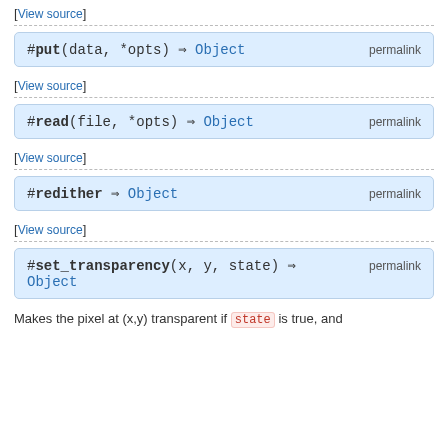[View source]
#put(data, *opts) ⇒ Object   permalink
[View source]
#read(file, *opts) ⇒ Object   permalink
[View source]
#redither ⇒ Object   permalink
[View source]
#set_transparency(x, y, state) ⇒ Object   permalink
Makes the pixel at (x,y) transparent if state is true, and